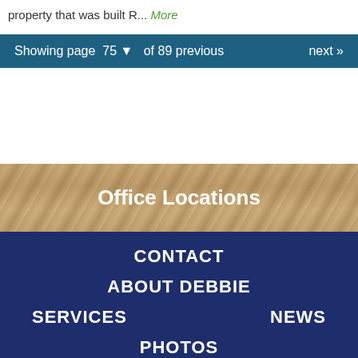p...  R... More
Showing page 75 of 89  previous  next »
[Figure (photo): Textured stone or rock surface background image for Office Locations section]
Office Locations
CONTACT
ABOUT DEBBIE
SERVICES
NEWS
PHOTOS